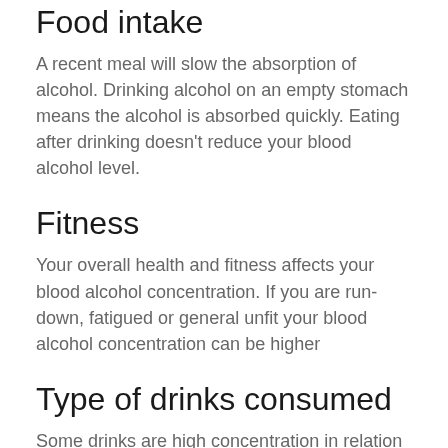Food intake
A recent meal will slow the absorption of alcohol. Drinking alcohol on an empty stomach means the alcohol is absorbed quickly. Eating after drinking doesn't reduce your blood alcohol level.
Fitness
Your overall health and fitness affects your blood alcohol concentration. If you are run-down, fatigued or general unfit your blood alcohol concentration can be higher
Type of drinks consumed
Some drinks are high concentration in relation to their volume and can have insidious levels